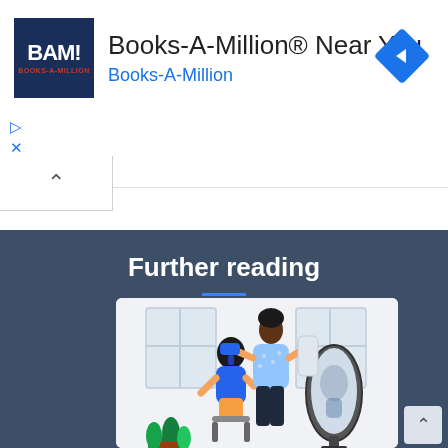[Figure (screenshot): BAM! Books-A-Million advertisement banner with logo, title 'Books-A-Million® Near You', link text 'Books-A-Million', and a blue diamond navigation arrow icon on the right.]
Further reading
[Figure (illustration): Illustration of a hairdresser blow-drying a seated woman's hair in a salon, with a tall mirror reflecting the scene. Blue and white color palette with plants in the foreground.]